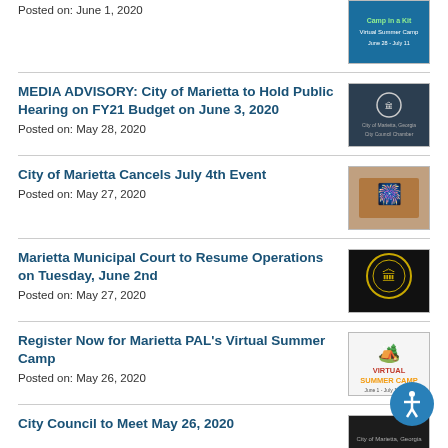Posted on: June 1, 2020
MEDIA ADVISORY: City of Marietta to Hold Public Hearing on FY21 Budget on June 3, 2020
Posted on: May 28, 2020
City of Marietta Cancels July 4th Event
Posted on: May 27, 2020
Marietta Municipal Court to Resume Operations on Tuesday, June 2nd
Posted on: May 27, 2020
Register Now for Marietta PAL's Virtual Summer Camp
Posted on: May 26, 2020
City Council to Meet May 26, 2020